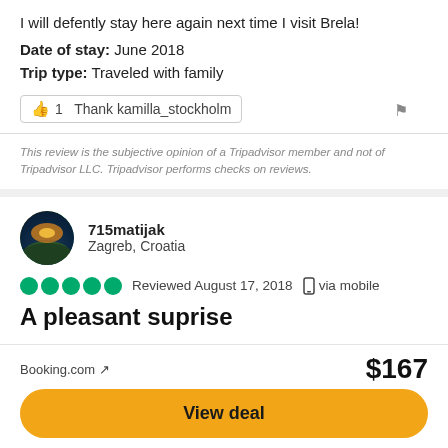I will defently stay here again next time I visit Brela!
Date of stay: June 2018
Trip type: Traveled with family
👍 1  Thank kamilla_stockholm
This review is the subjective opinion of a Tripadvisor member and not of Tripadvisor LLC. Tripadvisor performs checks on reviews.
715matijak
Zagreb, Croatia
Reviewed August 17, 2018  via mobile
A pleasant suprise
I was pleasantly surprised at how nice was our stay in this hotel. At first glance the hotel looks older, but do not be fooled. The hotel's appearance is retro-look charming and if someone doesn't like it, then in my opinion this is definitely compensated
Booking.com ↗
$167
View deal